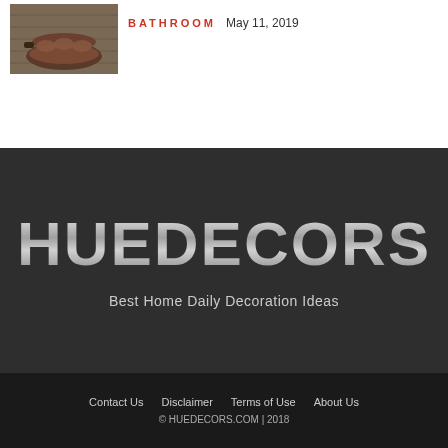[Figure (photo): Small thumbnail image of a room with a curved sofa on a wooden deck]
BATHROOM  May 11, 2019
[Figure (logo): HUEDECORS logo in large metallic gradient letters on dark background]
Best Home Daily Decoration Ideas
Contact Us   Disclaimer   Terms of Use   About Us   © HUEDECORS.COM | 2018